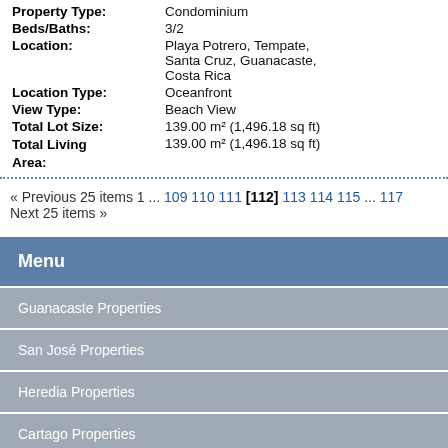Property Type: Condominium
Beds/Baths: 3/2
Location: Playa Potrero, Tempate, Santa Cruz, Guanacaste, Costa Rica
Location Type: Oceanfront
View Type: Beach View
Total Lot Size: 139.00 m² (1,496.18 sq ft)
Total Living Area: 139.00 m² (1,496.18 sq ft)
« Previous 25 items 1 ... 109 110 111 [112] 113 114 115 ... 117 Next 25 items »
Menu
Guanacaste Properties
San José Properties
Heredia Properties
Cartago Properties